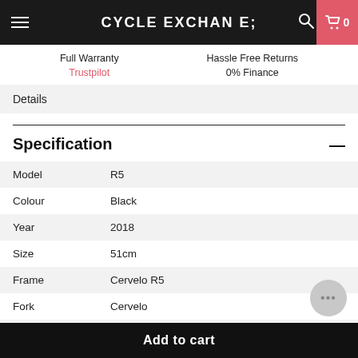CYCLE EXCHANGE
Full Warranty
Trustpilot
Hassle Free Returns
0% Finance
Details
Specification
|  |  |
| --- | --- |
| Model | R5 |
| Colour | Black |
| Year | 2018 |
| Size | 51cm |
| Frame | Cervelo R5 |
| Fork | Cervelo |
| Shifters | Shimano Ultegra |
Add to cart